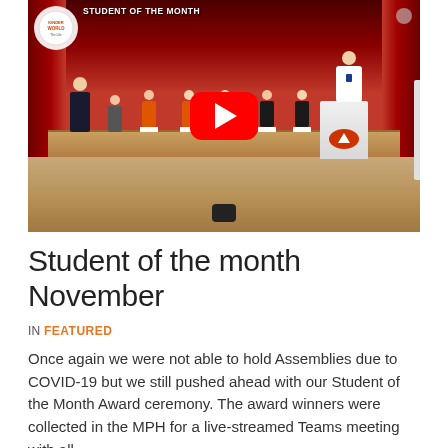[Figure (screenshot): YouTube video thumbnail showing a school stage with red curtains. Several children in orange and dark clothing stand on stage holding papers, with an adult man at a white podium on the right. A large red YouTube play button is overlaid in the center. A circular school logo watermark appears in the top-left.]
Student of the month November
IN FEATURED
Once again we were not able to hold Assemblies due to COVID-19 but we still pushed ahead with our Student of the Month Award ceremony. The award winners were collected in the MPH for a live-streamed Teams meeting with all…